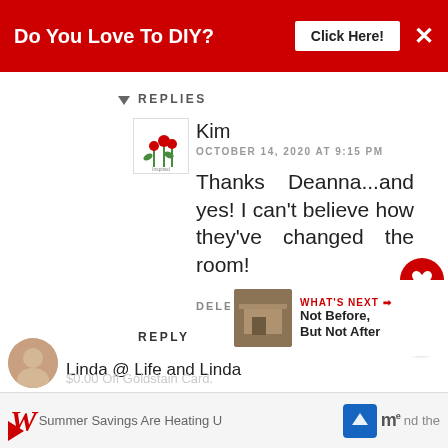[Figure (screenshot): Red advertisement banner with text 'Do You Love To DIY?' and a 'Click Here!' button and an X close button]
REPLIES
[Figure (logo): Small flower logo avatar for commenter Kim]
Kim
OCTOBER 14, 2020 AT 9:15 PM
Thanks Deanna...and yes! I can't believe how they've changed the room!
DELETE
REPLY
[Figure (screenshot): WHAT'S NEXT section with thumbnail image and text 'Not Before, But Not After']
Linda @ Life and Linda
[Figure (screenshot): Bottom advertisement banner: Walgreens Summer Savings Are Heating U...]